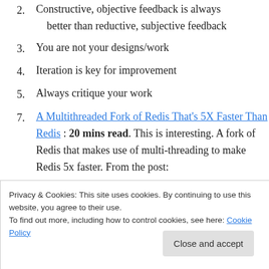2. Constructive, objective feedback is always better than reductive, subjective feedback
3. You are not your designs/work
4. Iteration is key for improvement
5. Always critique your work
7. A Multithreaded Fork of Redis That’s 5X Faster Than Redis : 20 mins read. This is interesting. A fork of Redis that makes use of multi-threading to make Redis 5x faster. From the post:
> KeyDB has a different philosophy on how the database should evolve. We feel that ease of use approach focusses too much on simplicity of the
Privacy & Cookies: This site uses cookies. By continuing to use this website, you agree to their use.
To find out more, including how to control cookies, see here: Cookie Policy